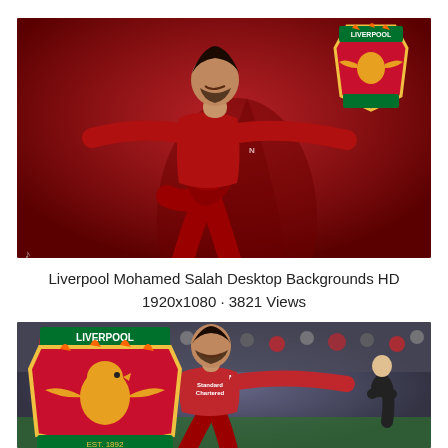[Figure (photo): Mohamed Salah in Liverpool FC red kit celebrating with arms spread wide, against a dark red background with Liverpool FC crest in top right corner]
Liverpool Mohamed Salah Desktop Backgrounds HD
1920x1080 · 3821 Views
[Figure (photo): Mohamed Salah celebrating in Liverpool FC red kit on the pitch with crowd in background and Liverpool FC crest visible on left side]